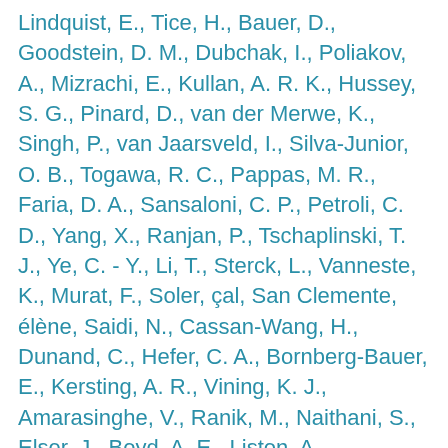Lindquist, E., Tice, H., Bauer, D., Goodstein, D. M., Dubchak, I., Poliakov, A., Mizrachi, E., Kullan, A. R. K., Hussey, S. G., Pinard, D., van der Merwe, K., Singh, P., van Jaarsveld, I., Silva-Junior, O. B., Togawa, R. C., Pappas, M. R., Faria, D. A., Sansaloni, C. P., Petroli, C. D., Yang, X., Ranjan, P., Tschaplinski, T. J., Ye, C. - Y., Li, T., Sterck, L., Vanneste, K., Murat, F., Soler, çal, San Clemente, élène, Saidi, N., Cassan-Wang, H., Dunand, C., Hefer, C. A., Bornberg-Bauer, E., Kersting, A. R., Vining, K. J., Amarasinghe, V., Ranik, M., Naithani, S., Elser, J., Boyd, A. E., Liston, A., Spatafora, J. W., Dharmwardhana, P., Raja, R., Sullivan, C., Romanel, E., Alves-Ferreira, M., ülheim, C., Foley, W., Carocha, V., Paiva, J., Kudrna, D., Brommonschenkel, S. H., Pasquali, G., Byrne, M.,